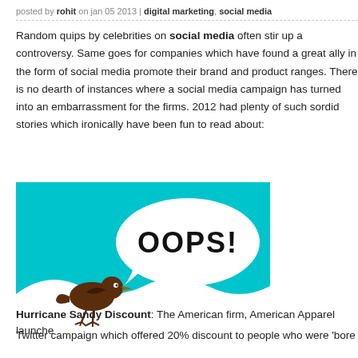posted by rohit on jan 05 2013 | digital marketing, social media
Random quips by celebrities on social media often stir up a controversy. Same goes for companies which have found a great ally in the form of social media to promote their brand and product ranges. There is no dearth of instances where a social media campaign has turned into an embarrassment for the firms. 2012 had plenty of such sordid stories which ironically have been fun to read about:
[Figure (illustration): Cartoon illustration of a brown bird on a white curvy branch with white swirl decorations on a teal/cyan background. The bird has a speech bubble saying 'OOPS!' in bold black text.]
Hurricane Sandy Discount: The American firm, American Apparel launche
Twitter campaign which offered 20% discount to people who were 'bore